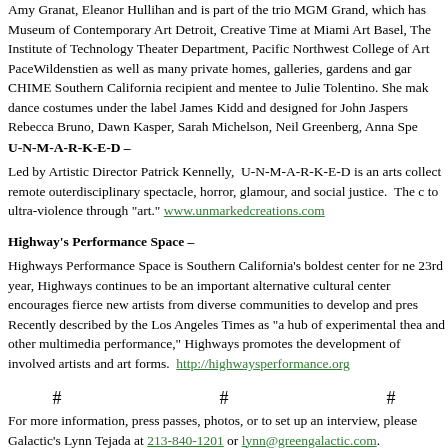Amy Granat, Eleanor Hullihan and is part of the trio MGM Grand, which has Museum of Contemporary Art Detroit, Creative Time at Miami Art Basel, The Institute of Technology Theater Department, Pacific Northwest College of Art PaceWildenstien as well as many private homes, galleries, gardens and ga CHIME Southern California recipient and mentee to Julie Tolentino. She mak dance costumes under the label James Kidd and designed for John Jaspers Rebecca Bruno, Dawn Kasper, Sarah Michelson, Neil Greenberg, Anna Spe
U-N-M-A-R-K-E-D –
Led by Artistic Director Patrick Kennelly, U-N-M-A-R-K-E-D is an arts collect remote outerdisciplinary spectacle, horror, glamour, and social justice. The c to ultra-violence through "art." www.unmarkedcreations.com
Highway's Performance Space –
Highways Performance Space is Southern California's boldest center for ne 23rd year, Highways continues to be an important alternative cultural center encourages fierce new artists from diverse communities to develop and pres Recently described by the Los Angeles Times as "a hub of experimental the and other multimedia performance," Highways promotes the development of involved artists and art forms. http://highwaysperformance.org
# # #
For more information, press passes, photos, or to set up an interview, please Galactic's Lynn Tejada at 213-840-1201 or lynn@greengalactic.com.